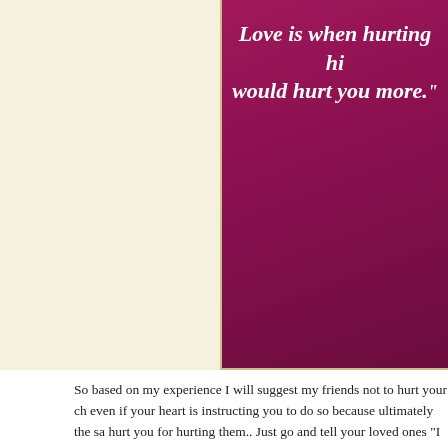[Figure (illustration): Motivational quote image with magenta/deep pink gradient background showing partial text: 'Love is when hurting him would hurt you more.']
So based on my experience I will suggest my friends not to hurt your ch even if your heart is instructing you to do so because ultimately the sa hurt you for hurting them.. Just go and tell your loved ones "I LOVE YO is the only thing which will make you and your loved ones smile even w corner of the eye.
“don’t hurt, just love”
Privacy & Cookies: This site uses cookies. By continuing to use this website, you agree to their use.
To find out more, including how to control cookies, see here: Cookie Policy